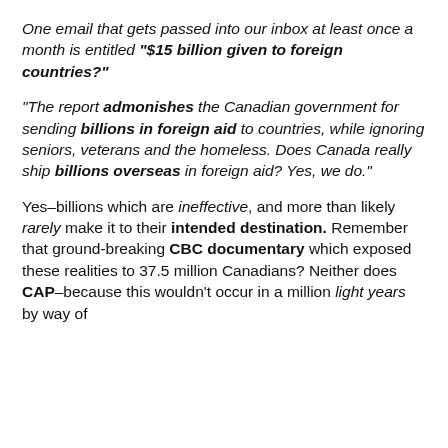One email that gets passed into our inbox at least once a month is entitled "$15 billion given to foreign countries?"
"The report admonishes the Canadian government for sending billions in foreign aid to countries, while ignoring seniors, veterans and the homeless. Does Canada really ship billions overseas in foreign aid? Yes, we do."
Yes–billions which are ineffective, and more than likely rarely make it to their intended destination. Remember that ground-breaking CBC documentary which exposed these realities to 37.5 million Canadians? Neither does CAP–because this wouldn't occur in a million light years by way of